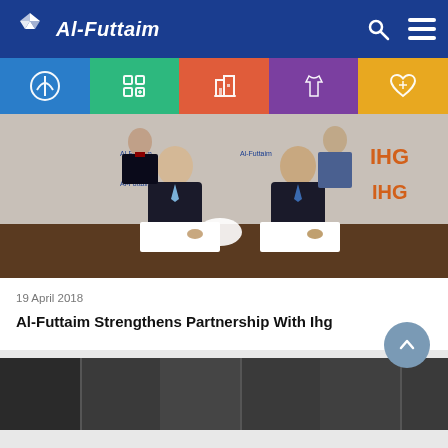Al-Futtaim
[Figure (screenshot): Website navigation bar with Al-Futtaim logo and search/menu icons on dark blue background, with five colored category tabs below (blue auto, green retail, orange real estate, purple fashion, yellow health)]
[Figure (photo): Two businessmen signing documents at a table with Al-Futtaim and IHG branded backdrop, two more people standing behind them]
19 April 2018
Al-Futtaim Strengthens Partnership With Ihg
[Figure (photo): Partial view of a second article card showing a dark interior photo]